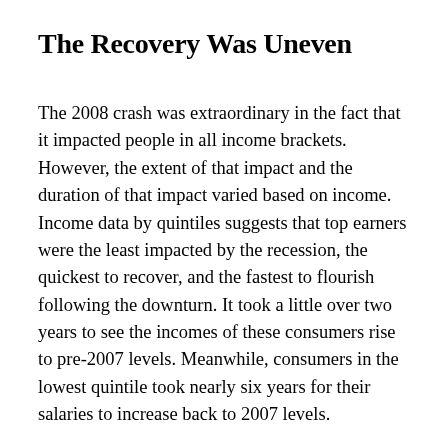The Recovery Was Uneven
The 2008 crash was extraordinary in the fact that it impacted people in all income brackets. However, the extent of that impact and the duration of that impact varied based on income. Income data by quintiles suggests that top earners were the least impacted by the recession, the quickest to recover, and the fastest to flourish following the downturn. It took a little over two years to see the incomes of these consumers rise to pre-2007 levels. Meanwhile, consumers in the lowest quintile took nearly six years for their salaries to increase back to 2007 levels.